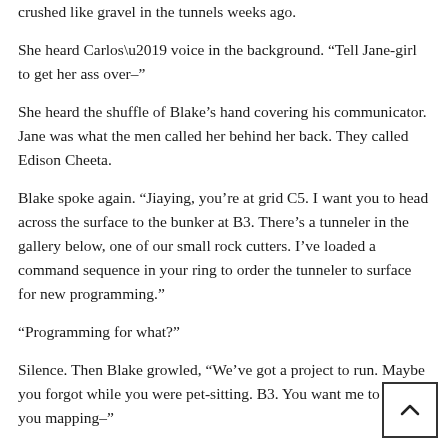crushed like gravel in the tunnels weeks ago.
She heard Carlos’ voice in the background. “Tell Jane-girl to get her ass over–”
She heard the shuffle of Blake’s hand covering his communicator. Jane was what the men called her behind her back. They called Edison Cheeta.
Blake spoke again. “Jiaying, you’re at grid C5. I want you to head across the surface to the bunker at B3. There’s a tunneler in the gallery below, one of our small rock cutters. I’ve loaded a command sequence in your ring to order the tunneler to surface for new programming.”
“Programming for what?”
Silence. Then Blake growled, “We’ve got a project to run. Maybe you forgot while you were pet-sitting. B3. You want me to send you mapping–”
“No.” She bit back a retort that would only cause more trouble with the men. “I got it.” The sooner she was beneath the surface, offline again